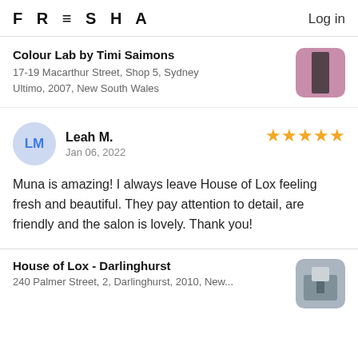FRESHA  Log in
Colour Lab by Timi Saimons
17-19 Macarthur Street, Shop 5, Sydney Ultimo, 2007, New South Wales
Leah M.
Jan 06, 2022
★★★★★
Muna is amazing! I always leave House of Lox feeling fresh and beautiful. They pay attention to detail, are friendly and the salon is lovely. Thank you!
House of Lox - Darlinghurst
240 Palmer Street, 2, Darlinghurst, 2010, New...